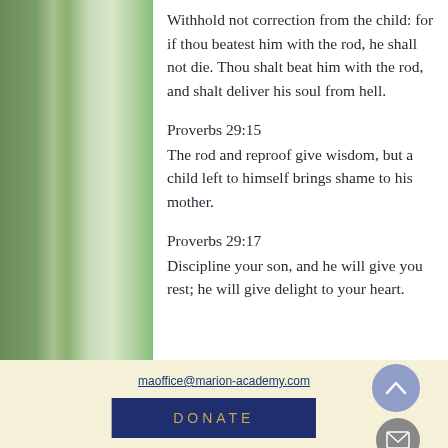Withhold not correction from the child: for if thou beatest him with the rod, he shall not die. Thou shalt beat him with the rod, and shalt deliver his soul from hell.
Proverbs 29:15
The rod and reproof give wisdom, but a child left to himself brings shame to his mother.
Proverbs 29:17
Discipline your son, and he will give you rest; he will give delight to your heart.
maoffice@marion-academy.com
DONATE